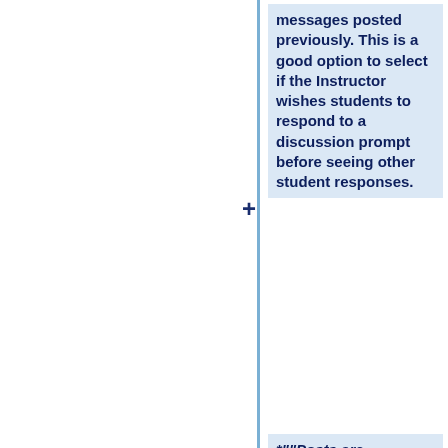messages posted previously. This is a good option to select if the Instructor wishes students to respond to a discussion prompt before seeing other student responses.
*""Posts are anonymous"": Select this option if you want site participants to be able to post without displaying the name of the post's author.
"Note: The anonymous setting cannot be changed once the topic is created, so be certain that you want anonymous...